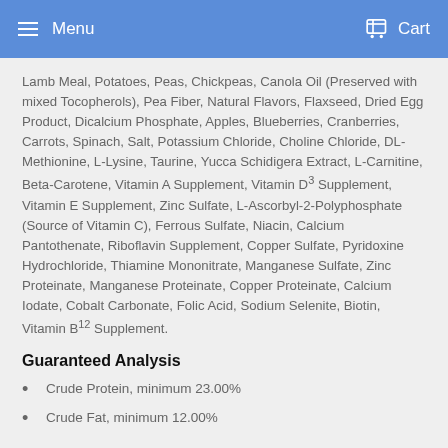Menu   Cart
Lamb Meal, Potatoes, Peas, Chickpeas, Canola Oil (Preserved with mixed Tocopherols), Pea Fiber, Natural Flavors, Flaxseed, Dried Egg Product, Dicalcium Phosphate, Apples, Blueberries, Cranberries, Carrots, Spinach, Salt, Potassium Chloride, Choline Chloride, DL-Methionine, L-Lysine, Taurine, Yucca Schidigera Extract, L-Carnitine, Beta-Carotene, Vitamin A Supplement, Vitamin D3 Supplement, Vitamin E Supplement, Zinc Sulfate, L-Ascorbyl-2-Polyphosphate (Source of Vitamin C), Ferrous Sulfate, Niacin, Calcium Pantothenate, Riboflavin Supplement, Copper Sulfate, Pyridoxine Hydrochloride, Thiamine Mononitrate, Manganese Sulfate, Zinc Proteinate, Manganese Proteinate, Copper Proteinate, Calcium Iodate, Cobalt Carbonate, Folic Acid, Sodium Selenite, Biotin, Vitamin B12 Supplement.
Guaranteed Analysis
Crude Protein, minimum 23.00%
Crude Fat, minimum 12.00%